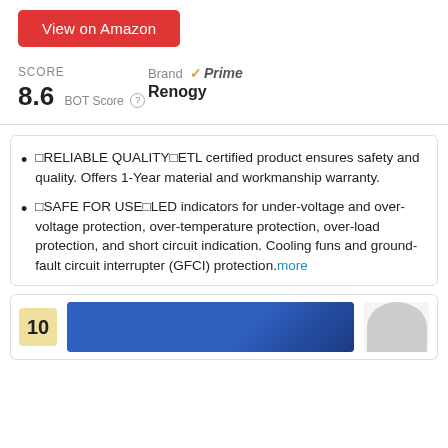View on Amazon
SCORE 8.6 BOT Score | Brand ✓Prime Renogy
🟧RELIABLE QUALITY🟧ETL certified product ensures safety and quality. Offers 1-Year material and workmanship warranty.
🟧SAFE FOR USE🟧LED indicators for under-voltage and over-voltage protection, over-temperature protection, over-load protection, and short circuit indication. Cooling funs and ground-fault circuit interrupter (GFCI) protection. more
10